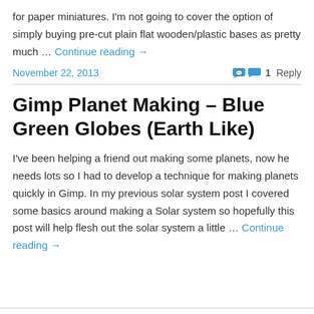for paper miniatures. I'm not going to cover the option of simply buying pre-cut plain flat wooden/plastic bases as pretty much … Continue reading →
November 22, 2013
1 Reply
Gimp Planet Making – Blue Green Globes (Earth Like)
I've been helping a friend out making some planets, now he needs lots so I had to develop a technique for making planets quickly in Gimp. In my previous solar system post I covered some basics around making a Solar system so hopefully this post will help flesh out the solar system a little … Continue reading →